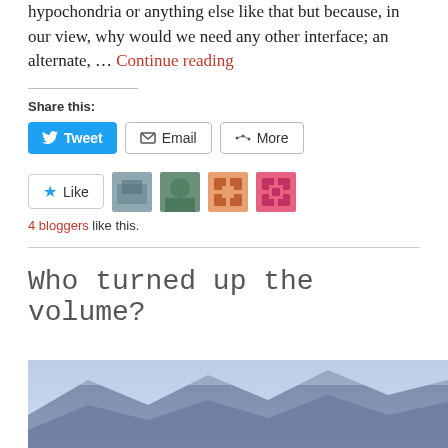hypochondria or anything else like that but because, in our view, why would we need any other interface; an alternate, … Continue reading
Share this:
[Figure (screenshot): Share buttons: Tweet (blue), Email (outlined), More (outlined)]
[Figure (screenshot): Like button with star and 4 blogger avatar images]
4 bloggers like this.
Who turned up the volume?
[Figure (photo): Landscape photo showing mountains and sky, partially visible]